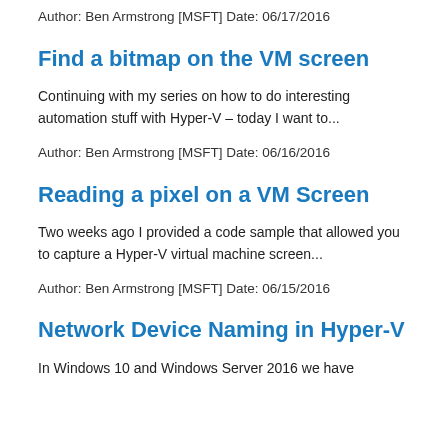Author: Ben Armstrong [MSFT] Date: 06/17/2016
Find a bitmap on the VM screen
Continuing with my series on how to do interesting automation stuff with Hyper-V – today I want to...
Author: Ben Armstrong [MSFT] Date: 06/16/2016
Reading a pixel on a VM Screen
Two weeks ago I provided a code sample that allowed you to capture a Hyper-V virtual machine screen...
Author: Ben Armstrong [MSFT] Date: 06/15/2016
Network Device Naming in Hyper-V
In Windows 10 and Windows Server 2016 we have